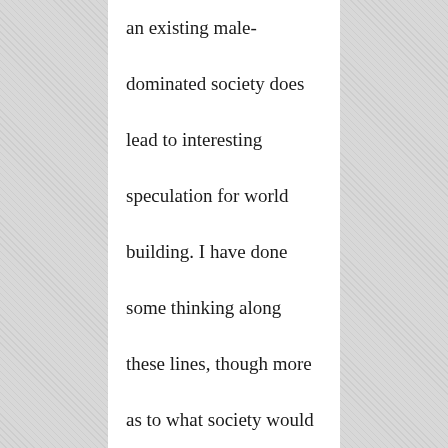an existing male-dominated society does lead to interesting speculation for world building. I have done some thinking along these lines, though more as to what society would look like if a segment of the population is decimated by a pandemic. I have some